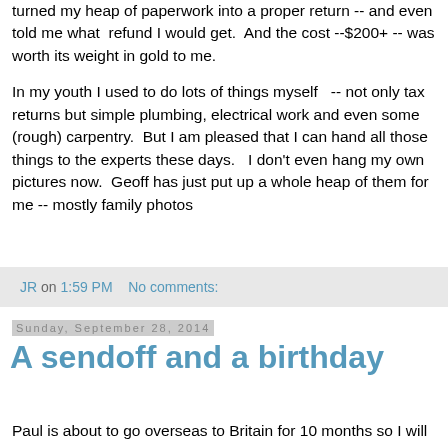turned my heap of paperwork into a proper return -- and even told me what refund I would get.  And the cost --$200+ -- was worth its weight in gold to me.
In my youth I used to do lots of things myself  -- not only tax returns but simple plumbing, electrical work and even some (rough) carpentry.  But I am pleased that I can hand all those things to the experts these days.  I don't even hang my own pictures now.  Geoff has just put up a whole heap of them for me -- mostly family photos
JR on 1:59 PM    No comments:
Sunday, September 28, 2014
A sendoff and a birthday
Paul is about to go overseas to Britain for 10 months so I will